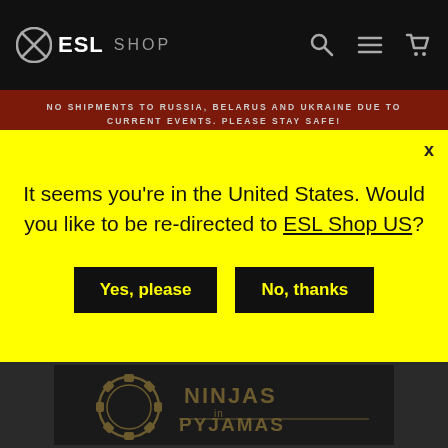ESL SHOP
NO SHIPMENTS TO RUSSIA, BELARUS AND UKRAINE DUE TO CURRENT EVENTS. PLEASE STAY SAFE!
It seems you’re in the United States. Would you like to be re-directed to ESL Shop US?
Yes, please
No, thanks
[Figure (photo): Ninjas in Pyjamas logo/merchandise product image, dark background]